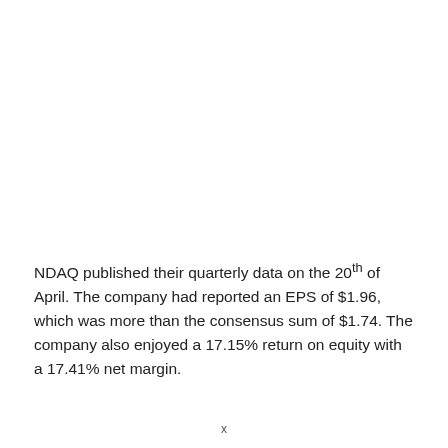NDAQ published their quarterly data on the 20th of April. The company had reported an EPS of $1.96, which was more than the consensus sum of $1.74. The company also enjoyed a 17.15% return on equity with a 17.41% net margin.
x